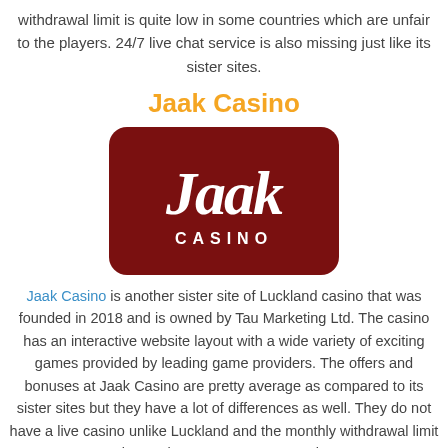withdrawal limit is quite low in some countries which are unfair to the players. 24/7 live chat service is also missing just like its sister sites.
Jaak Casino
[Figure (logo): Jaak Casino logo — dark red rounded rectangle with white cursive 'Jaak' text and 'CASINO' in capitals below]
Jaak Casino is another sister site of Luckland casino that was founded in 2018 and is owned by Tau Marketing Ltd. The casino has an interactive website layout with a wide variety of exciting games provided by leading game providers. The offers and bonuses at Jaak Casino are pretty average as compared to its sister sites but they have a lot of differences as well. They do not have a live casino unlike Luckland and the monthly withdrawal limit is very low. Customer support is